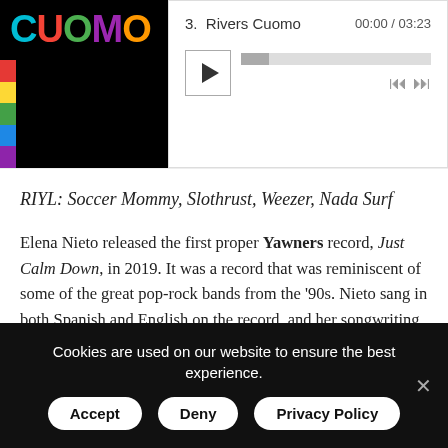[Figure (screenshot): Music player with album art thumbnail (CUOMO text in colorful letters on black background) and player controls showing track 3. Rivers Cuomo, time 00:00 / 03:23, with play button, progress bar, and navigation buttons.]
RIYL: Soccer Mommy, Slothrust, Weezer, Nada Surf
Elena Nieto released the first proper Yawners record, Just Calm Down, in 2019. It was a record that was reminiscent of some of the great pop-rock bands from the '90s. Nieto sang in both Spanish and English on the record, and her songwriting reflected more contemporary singer-songwriters. With that, it's probably not shocking that the latest Yawners single is named after the frontman for Weezer.
“Rivers Cuomo” does have much of the appeal of a Weezer
Cookies are used on our website to ensure the best experience.